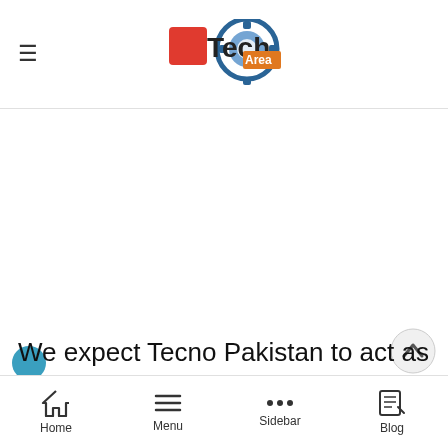TechArea — website header with hamburger menu and logo
[Figure (other): Blank white advertisement/content area]
We expect Tecno Pakistan to act as a responsible company and keep their audience educated that standard Tecno Camon 17 is up for pre-booking
Home | Menu | Sidebar | Blog